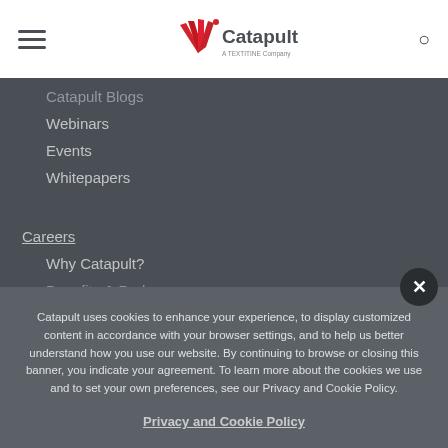[Figure (logo): Catapult logo with red fan/wing icon and text 'Catapult' and subtitle 'A TEXTITINE Company']
Catapult Blogs
Webinars
Events
Whitepapers
Careers
Why Catapult?
Benefits & Perks
Catapult uses cookies to enhance your experience, to display customized content in accordance with your browser settings, and to help us better understand how you use our website. By continuing to browse or closing this banner, you indicate your agreement. To learn more about the cookies we use and to set your own preferences, see our Privacy and Cookie Policy.
Privacy and Cookie Policy